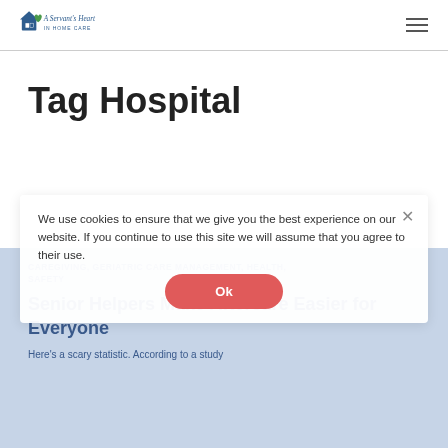A Servant's Heart In-Home Care
Tag Hospital
CAREGIVING, GERIATRIC CARE MANAGEMENT, HEALTH, SAFETY
Senior Helpers Make Aftercare Easier for Everyone
Here's a scary statistic. According to a study
We use cookies to ensure that we give you the best experience on our website. If you continue to use this site we will assume that you agree to their use.
Ok